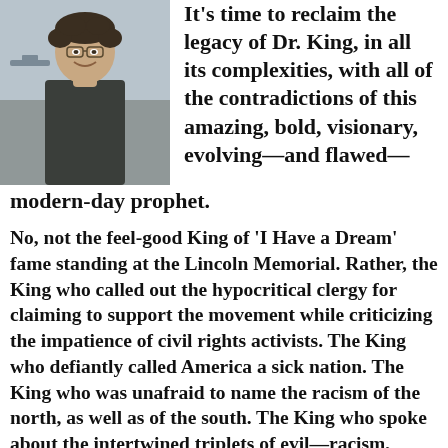[Figure (photo): Photo of a man with curly hair wearing a dark fleece jacket, smiling, with an airport or outdoor scene in the background.]
It's time to reclaim the legacy of Dr. King, in all its complexities, with all of the contradictions of this amazing, bold, visionary, evolving—and flawed—modern-day prophet.
No, not the feel-good King of 'I Have a Dream' fame standing at the Lincoln Memorial. Rather, the King who called out the hypocritical clergy for claiming to support the movement while criticizing the impatience of civil rights activists. The King who defiantly called America a sick nation. The King who was unafraid to name the racism of the north, as well as of the south. The King who spoke about the intertwined triplets of evil—racism, economic oppression